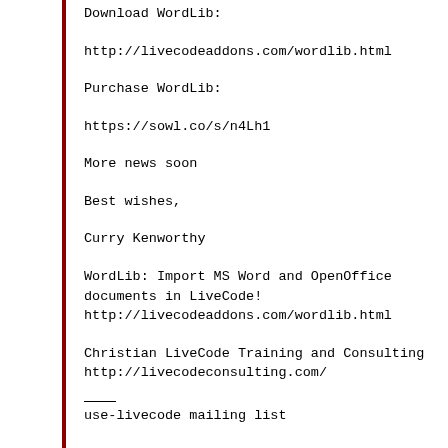Download WordLib:
http://livecodeaddons.com/wordlib.html
Purchase WordLib:
https://sowl.co/s/n4Lh1
More news soon
Best wishes,
Curry Kenworthy
WordLib: Import MS Word and OpenOffice documents in LiveCode!
http://livecodeaddons.com/wordlib.html
Christian LiveCode Training and Consulting
http://livecodeconsulting.com/
___
use-livecode mailing list